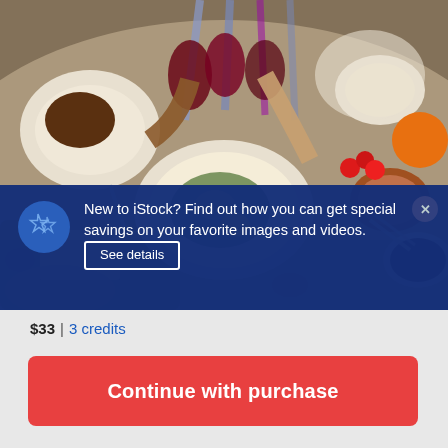[Figure (photo): Overhead view of people clinking glasses of red wine over a table covered with various food dishes, plates, and bowls at a dinner gathering.]
New to iStock? Find out how you can get special savings on your favorite images and videos. See details
$33 | 3 credits
Continue with purchase